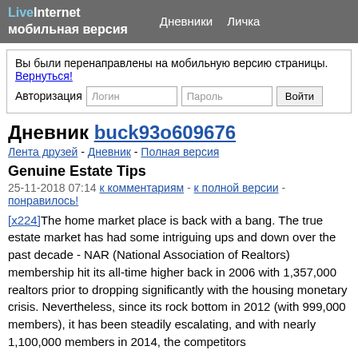LiveInternet мобильная версия  Дневники  Личка
Вы были перенаправлены на мобильную версию страницы. Вернуться!
Авторизация  Логин  Пароль  Войти
Дневник buck93o609676
Лента друзей - Дневник - Полная версия
Genuine Estate Tips
25-11-2018 07:14  к комментариям - к полной версии - понравилось!
[x224]The home market place is back with a bang. The true estate market has had some intriguing ups and down over the past decade - NAR (National Association of Realtors) membership hit its all-time higher back in 2006 with 1,357,000 realtors prior to dropping significantly with the housing monetary crisis. Nevertheless, since its rock bottom in 2012 (with 999,000 members), it has been steadily escalating, and with nearly 1,100,000 members in 2014, the competitors